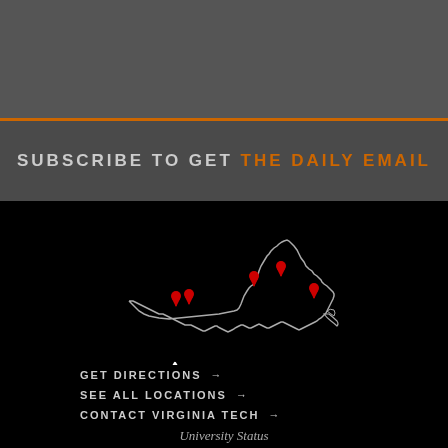SUBSCRIBE TO GET THE DAILY EMAIL
[Figure (map): Outline map of Virginia state with red location pins marking Virginia Tech campus locations]
[Figure (logo): Virginia Tech logo with VT monogram and text VIRGINIA TECH]
GET DIRECTIONS →
SEE ALL LOCATIONS →
CONTACT VIRGINIA TECH →
University Status